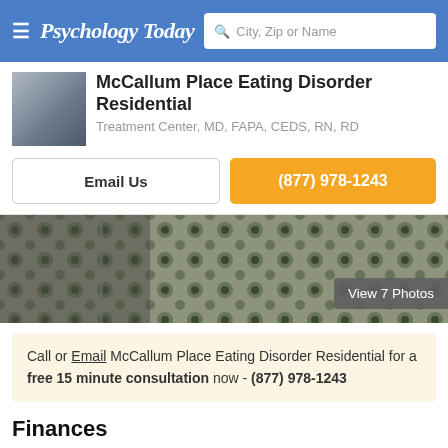Psychology Today — City, Zip or Name search
McCallum Place Eating Disorder Residential
Treatment Center, MD, FAPA, CEDS, RN, RD
Email Us
(877) 978-1243
[Figure (photo): Interior photo showing decorative fabric/upholstery with floral pattern and shelving in background]
View 7 Photos
Call or Email McCallum Place Eating Disorder Residential for a free 15 minute consultation now - (877) 978-1243
Finances
Pay By: American Express, Cash, Check, Discover, Mastercard, Visa